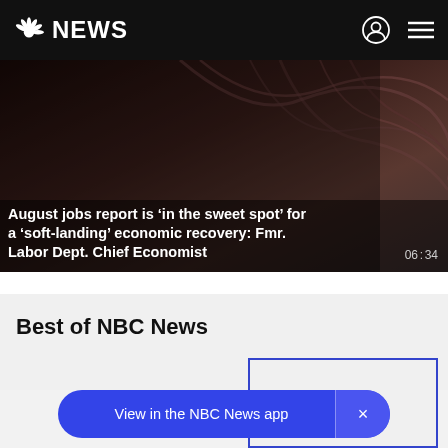NBC NEWS
August jobs report is 'in the sweet spot' for a 'soft-landing' economic recovery: Fmr. Labor Dept. Chief Economist
06:34
Best of NBC News
PLAY ALL
View in the NBC News app